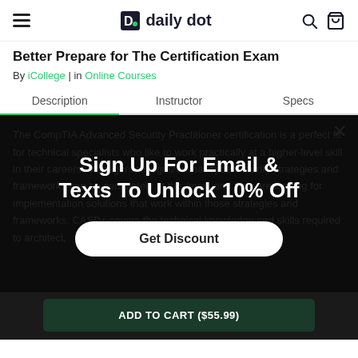daily dot
Better Prepare for The Certification Exam
By iCollege | in Online Courses
Description | Instructor | Specs
The CompTIA Advanced Security Practitioner certification is a perfect fit for technical specialists who like to work practically at a higher-level skill in their careers. Managers recognize what cybersecurity strategies and frameworks can be completed at this level, and they are looking for implementation solutions that work within those strategies and frameworks. CASP+ covers the technical knowledge and skills required to architect,
Sign Up For Email & Texts To Unlock 10% Off
Get Discount
ADD TO CART ($55.99)